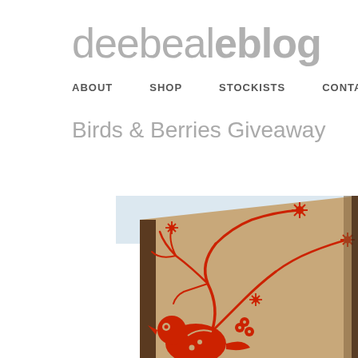deebealeblog
ABOUT  SHOP  STOCKISTS  CONTACT  PRESS  ETS
Birds & Berries Giveaway
[Figure (photo): Close-up photo of a kraft paper notebook with red folk-art bird and floral/branch design printed on the cover, shown at an angle on a light blue background.]